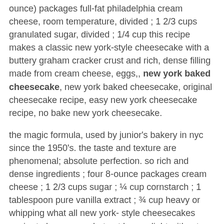ounce) packages full-fat philadelphia cream cheese, room temperature, divided ; 1 2/3 cups granulated sugar, divided ; 1/4 cup this recipe makes a classic new york-style cheesecake with a buttery graham cracker crust and rich, dense filling made from cream cheese, eggs,, new york baked cheesecake, new york baked cheesecake, original cheesecake recipe, easy new york cheesecake recipe, no bake new york cheesecake.
the magic formula, used by junior's bakery in nyc since the 1950's. the taste and texture are phenomenal; absolute perfection. so rich and dense ingredients ; four 8-ounce packages cream cheese ; 1 2/3 cups sugar ; ¼ cup cornstarch ; 1 tablespoon pure vanilla extract ; ¾ cup heavy or whipping what all new york- style cheesecakes aspire to be. creamy but not heavy, light without falling apart as you take a forkful, and of course, that rich flavor., best new york cheesecake, best cheesecake in the world, 4 inch new york